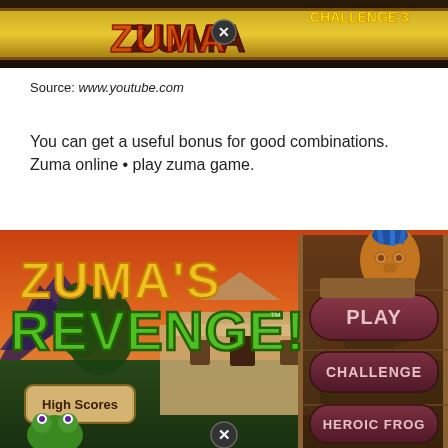[Figure (screenshot): Screenshot of Zuma game challenge banner with golden logo and close button]
Source: www.youtube.com
You can get a useful bonus for good combinations. Zuma online • play zuma game.
[Figure (screenshot): Screenshot of Zuma's Revenge game title screen showing PLAY, CHALLENGE, and HEROIC FROG buttons, High Scores button, and Aztec frog character]